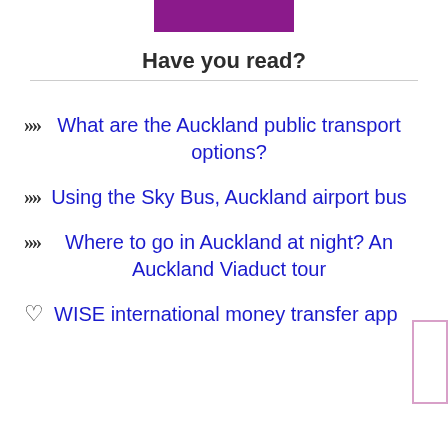[Figure (other): Purple/magenta rectangular bar at top center of page]
Have you read?
What are the Auckland public transport options?
Using the Sky Bus, Auckland airport bus
Where to go in Auckland at night? An Auckland Viaduct tour
WISE international money transfer app